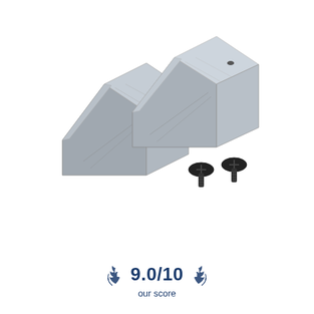[Figure (photo): Two gray plastic wedge/bracket hardware pieces with triangle-shaped profile and screw holes, alongside two black machine screws, shown on a white background.]
9.0/10 our score